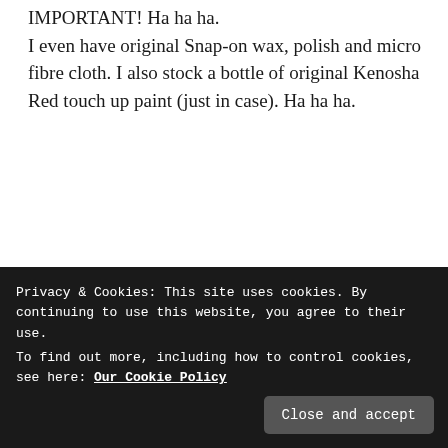IMPORTANT! Ha ha ha. I even have original Snap-on wax, polish and micro fibre cloth. I also stock a bottle of original Kenosha Red touch up paint (just in case). Ha ha ha.
Loading...
↵ Reply
MART DAWSON
Privacy & Cookies: This site uses cookies. By continuing to use this website, you agree to their use. To find out more, including how to control cookies, see here: Our Cookie Policy
Close and accept